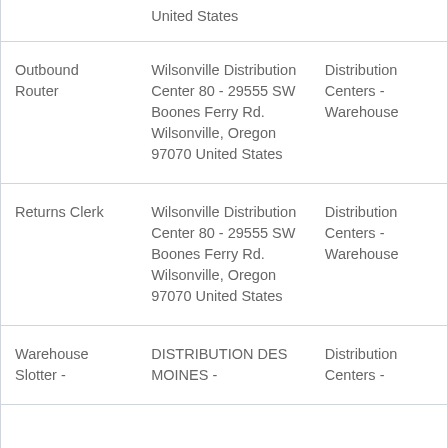|  | United States |  |
| Outbound Router | Wilsonville Distribution Center 80 - 29555 SW Boones Ferry Rd. Wilsonville, Oregon 97070 United States | Distribution Centers - Warehouse |
| Returns Clerk | Wilsonville Distribution Center 80 - 29555 SW Boones Ferry Rd. Wilsonville, Oregon 97070 United States | Distribution Centers - Warehouse |
| Warehouse Slotter - | DISTRIBUTION DES MOINES - | Distribution Centers - |